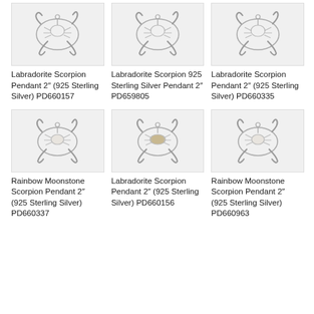[Figure (photo): Labradorite Scorpion pendant jewelry photo, silver toned, no gemstone visible]
Labradorite Scorpion Pendant 2″ (925 Sterling Silver) PD660157
[Figure (photo): Labradorite Scorpion 925 Sterling Silver pendant jewelry photo]
Labradorite Scorpion 925 Sterling Silver Pendant 2″ PD659805
[Figure (photo): Labradorite Scorpion pendant jewelry photo, silver toned]
Labradorite Scorpion Pendant 2″ (925 Sterling Silver) PD660335
[Figure (photo): Rainbow Moonstone Scorpion pendant jewelry photo, white stone center]
Rainbow Moonstone Scorpion Pendant 2″ (925 Sterling Silver) PD660337
[Figure (photo): Labradorite Scorpion pendant jewelry photo, oval stone center]
Labradorite Scorpion Pendant 2″ (925 Sterling Silver) PD660156
[Figure (photo): Rainbow Moonstone Scorpion pendant jewelry photo, white stone center]
Rainbow Moonstone Scorpion Pendant 2″ (925 Sterling Silver) PD660963